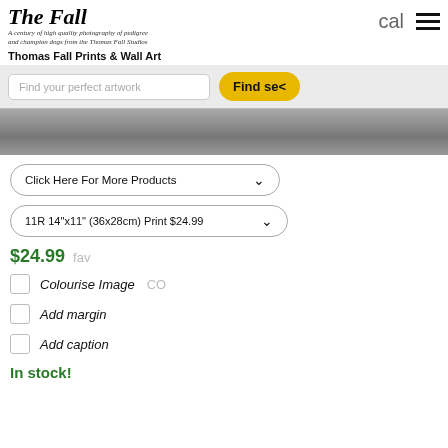[Figure (logo): Thomas Fall Studios logo with italic script text and tagline about high quality photography of pedigree and champion dogs]
Thomas Fall Prints & Wall Art
Find your perfect artwork
Find se
[Figure (photo): Black and white photograph of dogs, partially cropped]
Click Here For More Products
11R 14"x11" (36x28cm) Print $24.99
$24.99 fav
Colourise Image CO
Add margin
Add caption
In stock!